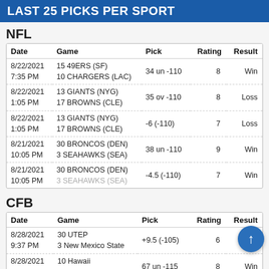LAST 25 PICKS PER SPORT
NFL
| Date | Game | Pick | Rating | Result |
| --- | --- | --- | --- | --- |
| 8/22/2021
7:35 PM | 15 49ERS (SF)
10 CHARGERS (LAC) | 34 un -110 | 8 | Win |
| 8/22/2021
1:05 PM | 13 GIANTS (NYG)
17 BROWNS (CLE) | 35 ov -110 | 8 | Loss |
| 8/22/2021
1:05 PM | 13 GIANTS (NYG)
17 BROWNS (CLE) | -6 (-110) | 7 | Loss |
| 8/21/2021
10:05 PM | 30 BRONCOS (DEN)
3 SEAHAWKS (SEA) | 38 un -110 | 9 | Win |
| 8/21/2021
10:05 PM | 30 BRONCOS (DEN)
3 SEAHAWKS (SEA) | -4.5 (-110) | 7 | Win |
CFB
| Date | Game | Pick | Rating | Result |
| --- | --- | --- | --- | --- |
| 8/28/2021
9:37 PM | 30 UTEP
3 New Mexico State | +9.5 (-105) | 6 | Loss |
| 8/28/2021
3:37 PM | 10 Hawaii
44 UCLA | 67 un -115 | 8 | Win |
| 8/28/2021
1:20 PM | 22 Nebraska
30 No Illinois | +6.5 (-110) | 7 | Win |
| 1/11/2021 | 24 Ohio State |  |  |  |